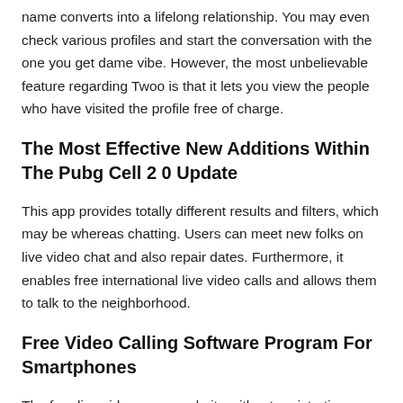name converts into a lifelong relationship. You may even check various profiles and start the conversation with the one you get dame vibe. However, the most unbelievable feature regarding Twoo is that it lets you view the people who have visited the profile free of charge.
The Most Effective New Additions Within The Pubg Cell 2 0 Update
This app provides totally different results and filters, which may be whereas chatting. Users can meet new folks on live video chat and also repair dates. Furthermore, it enables free international live video calls and allows them to talk to the neighborhood.
Free Video Calling Software Program For Smartphones
The free live video name website without registration on this list